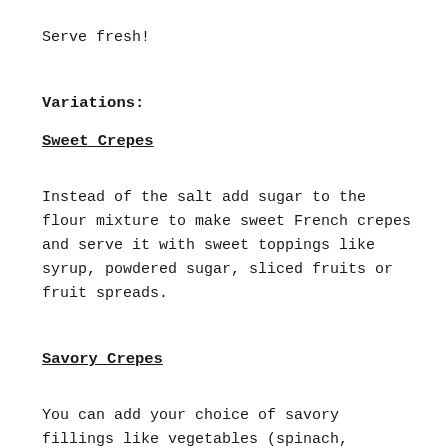Serve fresh!
Variations:
Sweet Crepes
Instead of the salt add sugar to the flour mixture to make sweet French crepes and serve it with sweet toppings like syrup, powdered sugar, sliced fruits or fruit spreads.
Savory Crepes
You can add your choice of savory fillings like vegetables (spinach, mushroom, asparagus etc.) or meat products.
Yield: 16 crepes, 8 inches in diameter